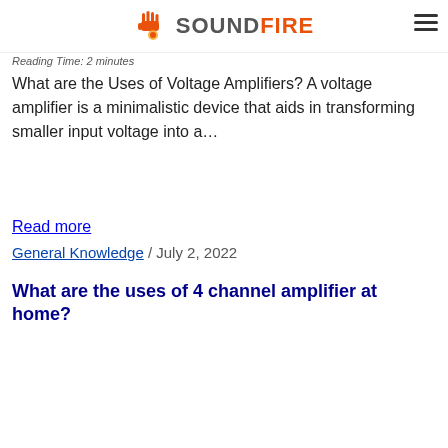SOUNDFIRE
Reading Time: 2 minutes
What are the Uses of Voltage Amplifiers? A voltage amplifier is a minimalistic device that aids in transforming smaller input voltage into a…
Read more
General Knowledge / July 2, 2022
What are the uses of 4 channel amplifier at home?